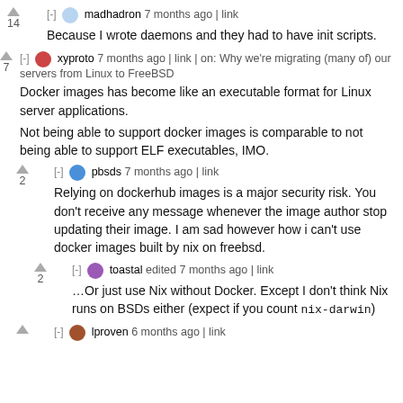▲ [-] madhadron 7 months ago | link
14
Because I wrote daemons and they had to have init scripts.
▲ [-] xyproto 7 months ago | link | on: Why we're migrating (many of) our servers from Linux to FreeBSD
Docker images has become like an executable format for Linux server applications.
Not being able to support docker images is comparable to not being able to support ELF executables, IMO.
▲ [-] pbsds 7 months ago | link
2
Relying on dockerhub images is a major security risk. You don't receive any message whenever the image author stop updating their image. I am sad however how i can't use docker images built by nix on freebsd.
▲ [-] toastal edited 7 months ago | link
2
…Or just use Nix without Docker. Except I don't think Nix runs on BSDs either (expect if you count nix-darwin)
▲ [-] lproven 6 months ago | link